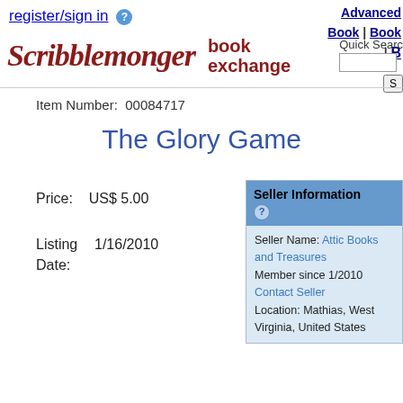register/sign in  [?]  Advanced  Book | Book | B  Quick Search
[Figure (logo): Scribblemonger book exchange logo with decorative script text]
Item Number:  00084717
The Glory Game
Price:    US$ 5.00
Listing Date:  1/16/2010
| Seller Information |
| --- |
| Seller Name: Attic Books and Treasures |
| Member since 1/2010 |
| Contact Seller |
| Location: Mathias, West Virginia, United States |